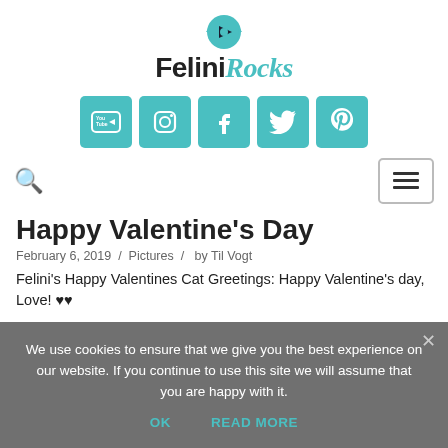Felini.Rocks
[Figure (infographic): Social media icon buttons row: YouTube, Instagram, Facebook, Twitter, Pinterest — teal/cyan square buttons with white icons]
[Figure (infographic): Navigation bar with search icon on the left and hamburger menu button on the right]
Happy Valentine's Day
February 6, 2019 / Pictures /  by Til Vogt
Felini's Happy Valentines Cat Greetings: Happy Valentine's day, Love! ♥♥
We use cookies to ensure that we give you the best experience on our website. If you continue to use this site we will assume that you are happy with it.
OK    READ MORE